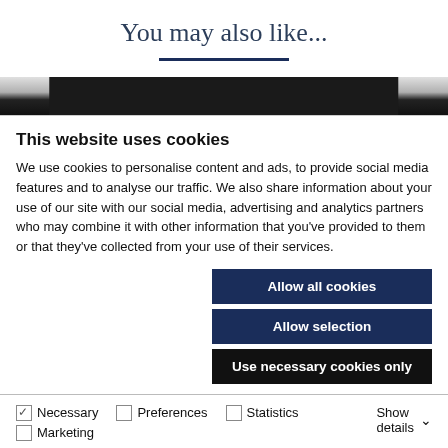You may also like...
[Figure (screenshot): Partial image strip showing a dark banner/photo strip across the page]
This website uses cookies
We use cookies to personalise content and ads, to provide social media features and to analyse our traffic. We also share information about your use of our site with our social media, advertising and analytics partners who may combine it with other information that you've provided to them or that they've collected from your use of their services.
Allow all cookies
Allow selection
Use necessary cookies only
Necessary  Preferences  Statistics  Marketing  Show details